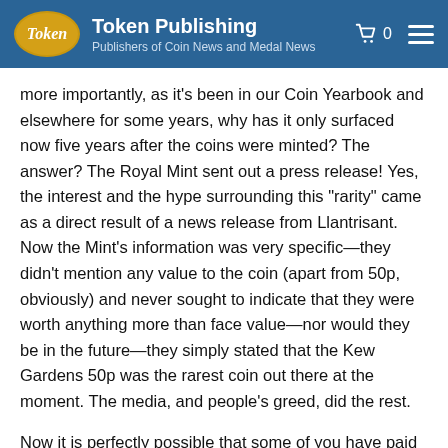Token Publishing — Publishers of Coin News and Medal News
more importantly, as it's been in our Coin Yearbook and elsewhere for some years, why has it only surfaced now five years after the coins were minted? The answer? The Royal Mint sent out a press release! Yes, the interest and the hype surrounding this "rarity" came as a direct result of a news release from Llantrisant. Now the Mint's information was very specific—they didn't mention any value to the coin (apart from 50p, obviously) and never sought to indicate that they were worth anything more than face value—nor would they be in the future—they simply stated that the Kew Gardens 50p was the rarest coin out there at the moment. The media, and people's greed, did the rest.
Now it is perfectly possible that some of you have paid over the odds for one of these coins recently; you might be a new issues collector who was missing the 2009 coin and felt it was worth paying more than face value to get an example in your collection. If you have done so then that's fine, you are a collector and want to pay to get your collection complete—I just hope you didn't spend £100+ in the hope that it will be worth even more one day. Why am I being so cynical? Quite simply because whilst the coin is the